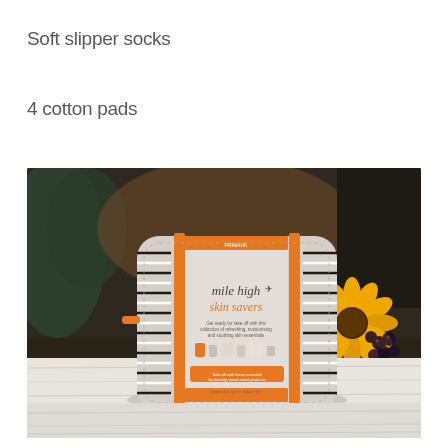Soft slipper socks
4 cotton pads
[Figure (photo): A travel cosmetics pouch labeled 'mile high skin savers' with orange accents and a diagonal stripe border pattern, displayed on a white wooden surface with sunflowers and berries in the blurred background.]